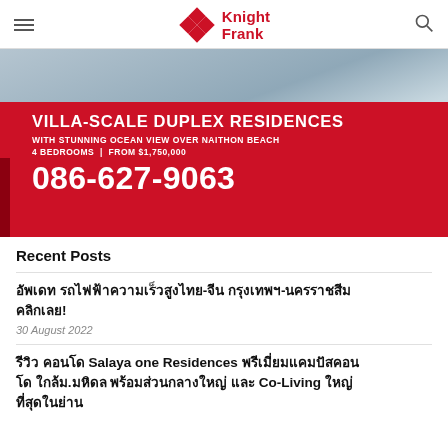Knight Frank
[Figure (photo): Knight Frank villa advertisement banner with red background. Text: VILLA-SCALE DUPLEX RESIDENCES / WITH STUNNING OCEAN VIEW OVER NAITHON BEACH / 4 BEDROOMS | FROM $1,750,000 / 086-627-9063]
Recent Posts
อัพเดท รถไฟฟ้าความเร็วสูงไทย-จีน กรุงเทพฯ-นครราชสีม คลิกเลย!
30 August 2022
รีวิว คอนโด Salaya one Residences พรีเมี่ยมแคมปัสคอนโด ใกล้ม.มหิดล พร้อมส่วนกลางใหญ่ และ Co-Living ใหญ่ที่สุดในย่าน